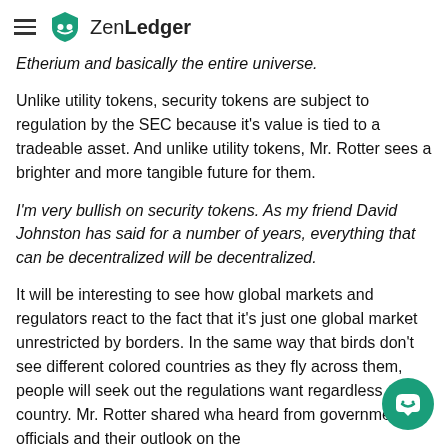ZenLedger
Etherium and basically the entire universe.
Unlike utility tokens, security tokens are subject to regulation by the SEC because it's value is tied to a tradeable asset. And unlike utility tokens, Mr. Rotter sees a brighter and more tangible future for them.
I'm very bullish on security tokens. As my friend David Johnston has said for a number of years, everything that can be decentralized will be decentralized.
It will be interesting to see how global markets and regulators react to the fact that it's just one global market unrestricted by borders. In the same way that birds don't see different colored countries as they fly across them, people will seek out the regulations want regardless of country. Mr. Rotter shared wha heard from government officials and their outlook on the